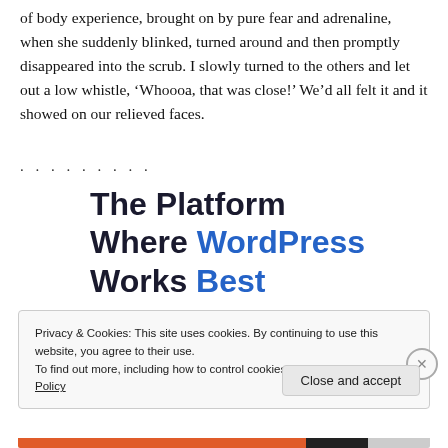of body experience, brought on by pure fear and adrenaline, when she suddenly blinked, turned around and then promptly disappeared into the scrub. I slowly turned to the others and let out a low whistle, ‘Whoooa, that was close!’ We’d all felt it and it showed on our relieved faces.
. . . . . . . . .
The Platform Where WordPress Works Best
Privacy & Cookies: This site uses cookies. By continuing to use this website, you agree to their use.
To find out more, including how to control cookies, see here: Cookie Policy
Close and accept